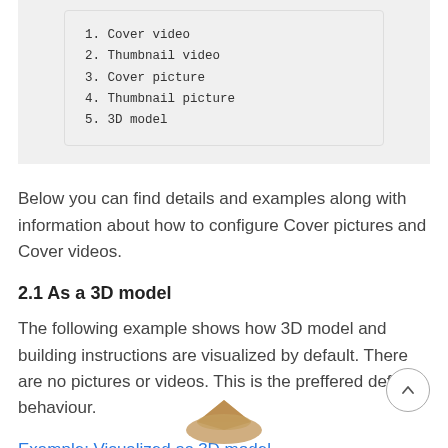1. Cover video
2. Thumbnail video
3. Cover picture
4. Thumbnail picture
5. 3D model
Below you can find details and examples along with information about how to configure Cover pictures and Cover videos.
2.1 As a 3D model
The following example shows how 3D model and building instructions are visualized by default. There are no pictures or videos. This is the preffered default behaviour.
Example: Visualized as 3D model
[Figure (photo): Partial view of a 3D model object at the bottom of the page]